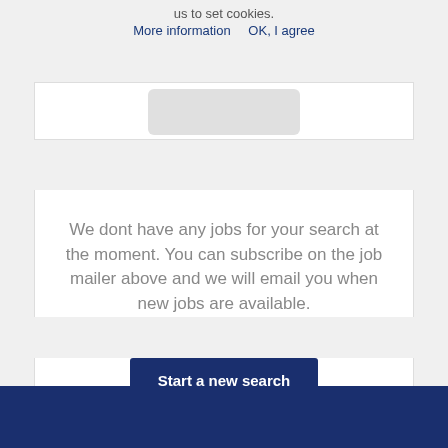us to set cookies. More information  OK, I agree
[Figure (other): Gray rounded rectangle input/button placeholder]
We dont have any jobs for your search at the moment. You can subscribe on the job mailer above and we will email you when new jobs are available.
Start a new search